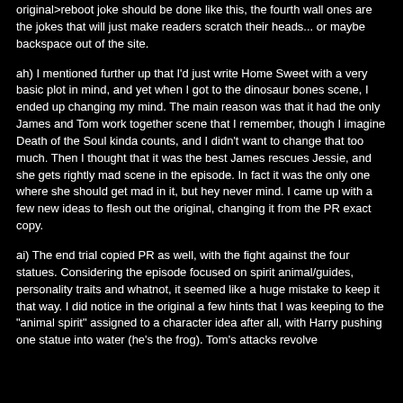original>reboot joke should be done like this, the fourth wall ones are the jokes that will just make readers scratch their heads... or maybe backspace out of the site.
ah) I mentioned further up that I'd just write Home Sweet with a very basic plot in mind, and yet when I got to the dinosaur bones scene, I ended up changing my mind. The main reason was that it had the only James and Tom work together scene that I remember, though I imagine Death of the Soul kinda counts, and I didn't want to change that too much. Then I thought that it was the best James rescues Jessie, and she gets rightly mad scene in the episode. In fact it was the only one where she should get mad in it, but hey never mind. I came up with a few new ideas to flesh out the original, changing it from the PR exact copy.
ai) The end trial copied PR as well, with the fight against the four statues. Considering the episode focused on spirit animal/guides, personality traits and whatnot, it seemed like a huge mistake to keep it that way. I did notice in the original a few hints that I was keeping to the "animal spirit" assigned to a character idea after all, with Harry pushing one statue into water (he's the frog). Tom's attacks revolve